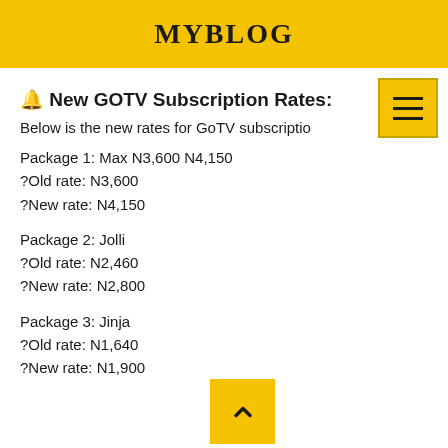MYBLOG
🔔 New GOTV Subscription Rates:
Below is the new rates for GoTV subscription
Package 1: Max N3,600 N4,150
?Old rate: N3,600
?New rate: N4,150
Package 2: Jolli
?Old rate: N2,460
?New rate: N2,800
Package 3: Jinja
?Old rate: N1,640
?New rate: N1,900